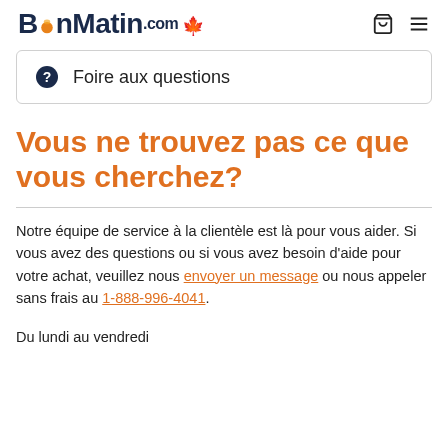BonMatin.com
Foire aux questions
Vous ne trouvez pas ce que vous cherchez?
Notre équipe de service à la clientèle est là pour vous aider. Si vous avez des questions ou si vous avez besoin d'aide pour votre achat, veuillez nous envoyer un message ou nous appeler sans frais au 1-888-996-4041.
Du lundi au vendredi